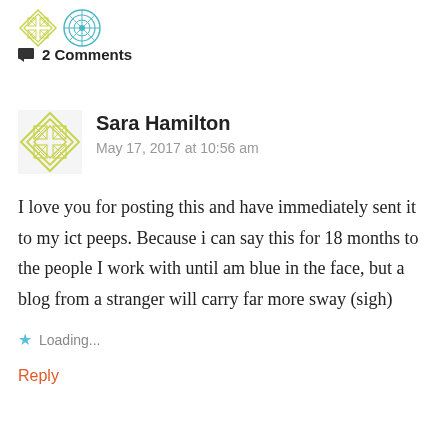[Figure (illustration): Two decorative avatar icons: one yellow-green geometric pattern and one teal/blue circular geometric pattern]
■ 2 Comments
[Figure (illustration): Yellow-green geometric avatar icon for Sara Hamilton]
Sara Hamilton
May 17, 2017 at 10:56 am
I love you for posting this and have immediately sent it to my ict peeps. Because i can say this for 18 months to the people I work with until am blue in the face, but a blog from a stranger will carry far more sway (sigh)
★ Loading...
Reply